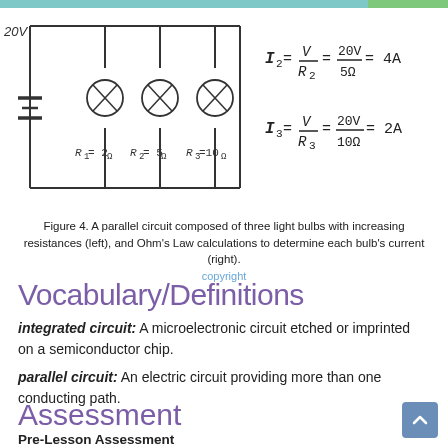[Figure (circuit-diagram): Parallel circuit with 20V source and three light bulbs R1=2Ω, R2=5Ω, R3=10Ω, with Ohm's Law calculations: I2=V/R2=20V/5Ω=4A and I3=V/R3=20V/10Ω=2A]
Figure 4. A parallel circuit composed of three light bulbs with increasing resistances (left), and Ohm's Law calculations to determine each bulb's current (right).
copyright
Vocabulary/Definitions
integrated circuit: A microelectronic circuit etched or imprinted on a semiconductor chip.
parallel circuit: An electric circuit providing more than one conducting path.
Assessment
Pre-Lesson Assessment